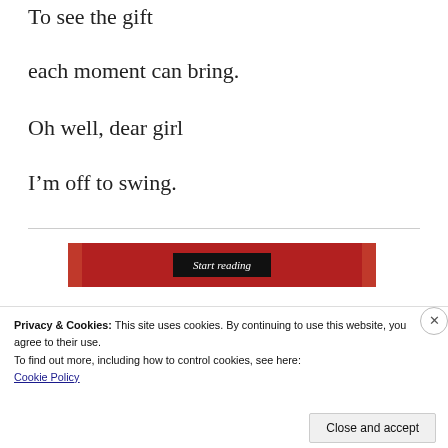To see the gift
each moment can bring.
Oh well, dear girl
I'm off to swing.
[Figure (screenshot): Red book banner with 'Start reading' button in black]
Privacy & Cookies: This site uses cookies. By continuing to use this website, you agree to their use.
To find out more, including how to control cookies, see here:
Cookie Policy
Close and accept